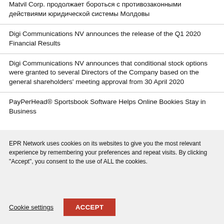Matvil Corp. продолжает бороться с противозаконными действиями юридической системы Молдовы
Digi Communications NV announces the release of the Q1 2020 Financial Results
Digi Communications NV announces that conditional stock options were granted to several Directors of the Company based on the general shareholders' meeting approval from 30 April 2020
PayPerHead® Sportsbook Software Helps Online Bookies Stay in Business
EPR Network uses cookies on its websites to give you the most relevant experience by remembering your preferences and repeat visits. By clicking "Accept", you consent to the use of ALL the cookies.
Cookie settings
ACCEPT